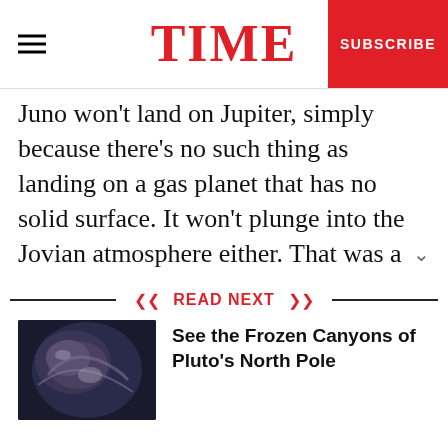TIME
Juno won't land on Jupiter, simply because there's no such thing as landing on a gas planet that has no solid surface. It won't plunge into the Jovian atmosphere either. That was a feat achieved only once before, when the Galileo orbiter arrived at Jupiter in 1995 and released a probe into the planet's clouds. The high-tech projectile was not expected to last long and it didn't—beaming back
READ NEXT
[Figure (photo): Thumbnail image of Pluto's surface showing frozen terrain]
See the Frozen Canyons of Pluto's North Pole